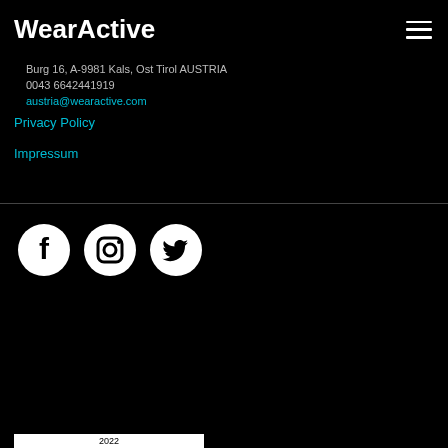WearActive
Burg 16, A-9981 Kals, Ost Tirol AUSTRIA
0043 6642441919
austria@wearactive.com
Privacy Policy
Impressum
[Figure (other): Social media icons: Facebook, Instagram, Twitter in white circles on black background]
2022